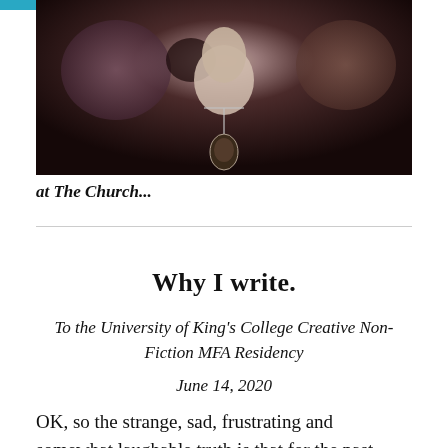[Figure (photo): A person wearing a floral dark-colored outfit with a pendant necklace, photographed in a moody, dark tone]
at The Church...
Why I write.
To the University of King's College Creative Non-Fiction MFA Residency
June 14, 2020
OK, so the strange, sad, frustrating and somewhat laughable truth is that for the past several weeks — since the COVID times began